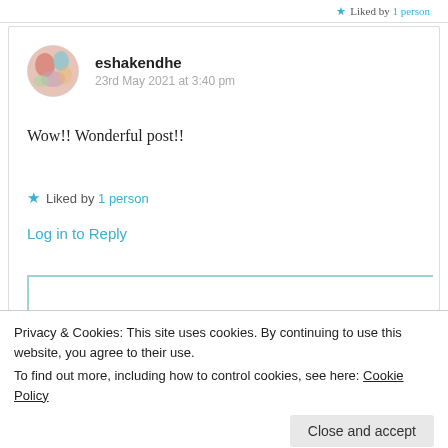Liked by 1 person
eshakendhe
23rd May 2021 at 3:40 pm
Wow!! Wonderful post!!
★ Liked by 1 person
Log in to Reply
Privacy & Cookies: This site uses cookies. By continuing to use this website, you agree to their use.
To find out more, including how to control cookies, see here: Cookie Policy
Close and accept
Thank you very much. 🙂 ❤️